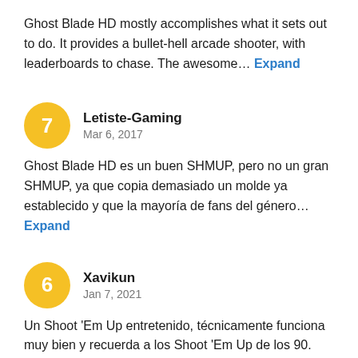Ghost Blade HD mostly accomplishes what it sets out to do. It provides a bullet-hell arcade shooter, with leaderboards to chase. The awesome… Expand
Letiste-Gaming
Mar 6, 2017
Ghost Blade HD es un buen SHMUP, pero no un gran SHMUP, ya que copia demasiado un molde ya establecido y que la mayoría de fans del género… Expand
Xavikun
Jan 7, 2021
Un Shoot 'Em Up entretenido, técnicamente funciona muy bien y recuerda a los Shoot 'Em Up de los 90.
Sin embargo es muy corto y no aporta… Expand